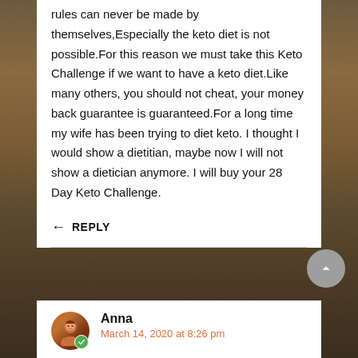rules can never be made by themselves,Especially the keto diet is not possible.For this reason we must take this Keto Challenge if we want to have a keto diet.Like many others, you should not cheat, your money back guarantee is guaranteed.For a long time my wife has been trying to diet keto. I thought I would show a dietitian, maybe now I will not show a dietician anymore. I will buy your 28 Day Keto Challenge.
REPLY
Anna
March 14, 2020 at 8:26 pm